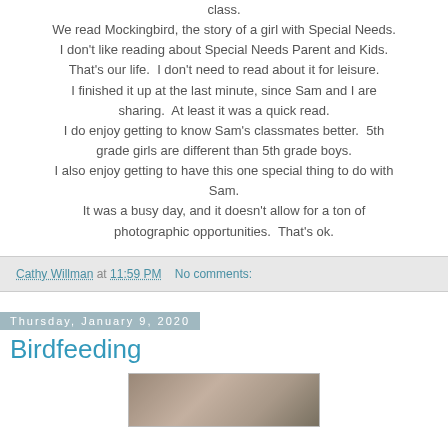class.
We read Mockingbird, the story of a girl with Special Needs. I don't like reading about Special Needs Parent and Kids. That's our life. I don't need to read about it for leisure. I finished it up at the last minute, since Sam and I are sharing. At least it was a quick read. I do enjoy getting to know Sam's classmates better. 5th grade girls are different than 5th grade boys. I also enjoy getting to have this one special thing to do with Sam. It was a busy day, and it doesn't allow for a ton of photographic opportunities. That's ok.
Cathy Willman at 11:59 PM   No comments:
Thursday, January 9, 2020
Birdfeeding
[Figure (photo): Partial photo of birds or birdfeeding scene, mostly cropped]